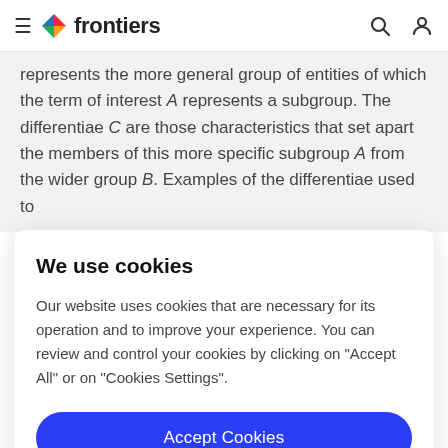frontiers
represents the more general group of entities of which the term of interest A represents a subgroup. The differentiae C are those characteristics that set apart the members of this more specific subgroup A from the wider group B. Examples of the differentiae used to
We use cookies
Our website uses cookies that are necessary for its operation and to improve your experience. You can review and control your cookies by clicking on "Accept All" or on "Cookies Settings".
Accept Cookies
Cookies Settings